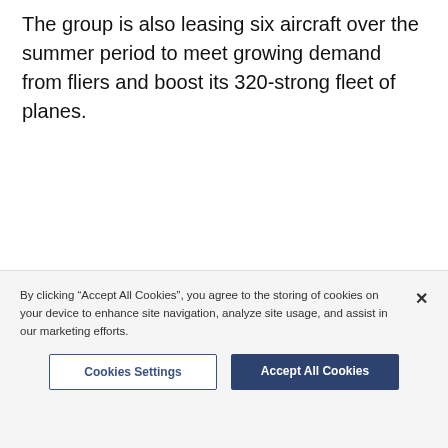The group is also leasing six aircraft over the summer period to meet growing demand from fliers and boost its 320-strong fleet of planes.
By clicking “Accept All Cookies”, you agree to the storing of cookies on your device to enhance site navigation, analyze site usage, and assist in our marketing efforts.
Cookies Settings
Accept All Cookies